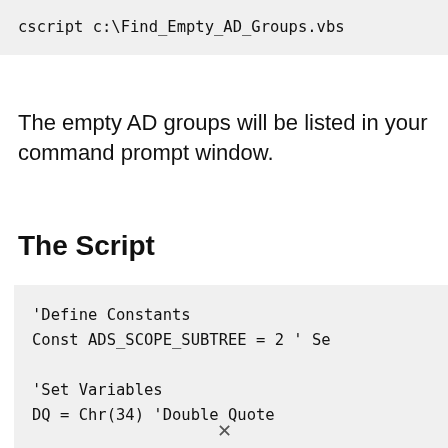cscript c:\Find_Empty_AD_Groups.vbs
The empty AD groups will be listed in your command prompt window.
The Script
'Define Constants
Const ADS_SCOPE_SUBTREE = 2 ' Se

'Set Variables
DQ = Chr(34) 'Double Quote

'Create Objects